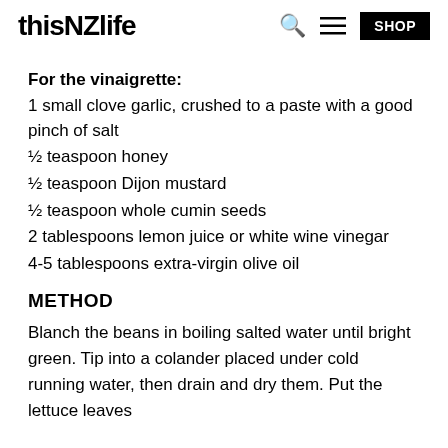thisNZlife | SHOP
For the vinaigrette:
1 small clove garlic, crushed to a paste with a good pinch of salt
½ teaspoon honey
½ teaspoon Dijon mustard
½ teaspoon whole cumin seeds
2 tablespoons lemon juice or white wine vinegar
4-5 tablespoons extra-virgin olive oil
METHOD
Blanch the beans in boiling salted water until bright green. Tip into a colander placed under cold running water, then drain and dry them. Put the lettuce leaves